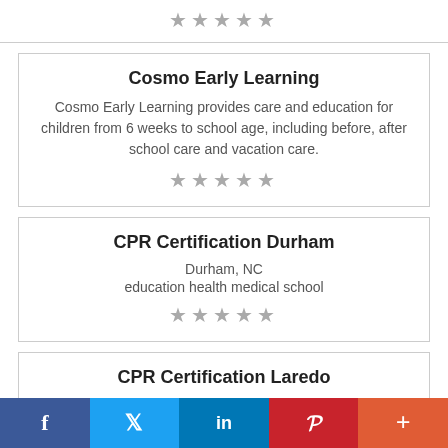[Figure (other): Star rating row (5 stars, grey) at top of page]
Cosmo Early Learning
Cosmo Early Learning provides care and education for children from 6 weeks to school age, including before, after school care and vacation care.
[Figure (other): Star rating row (5 stars, grey)]
CPR Certification Durham
Durham, NC
education health medical school
[Figure (other): Star rating row (5 stars, grey)]
CPR Certification Laredo
Laredo, TX
f  Twitter  in  P  +